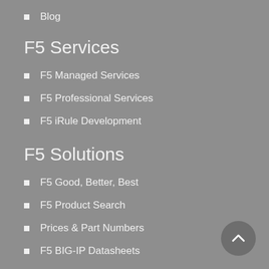Blog
F5 Services
F5 Managed Services
F5 Professional Services
F5 iRule Development
F5 Solutions
F5 Good, Better, Best
F5 Product Search
Prices & Part Numbers
F5 BIG-IP Datasheets
F5 End of Life Dates